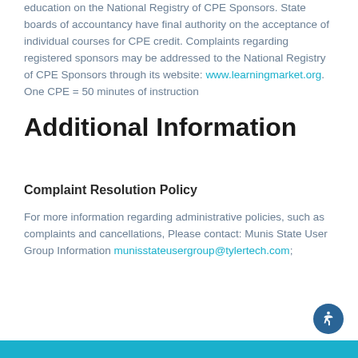education on the National Registry of CPE Sponsors. State boards of accountancy have final authority on the acceptance of individual courses for CPE credit. Complaints regarding registered sponsors may be addressed to the National Registry of CPE Sponsors through its website: www.learningmarket.org. One CPE = 50 minutes of instruction
Additional Information
Complaint Resolution Policy
For more information regarding administrative policies, such as complaints and cancellations, Please contact: Munis State User Group Information munisstateusergroup@tylertech.com;